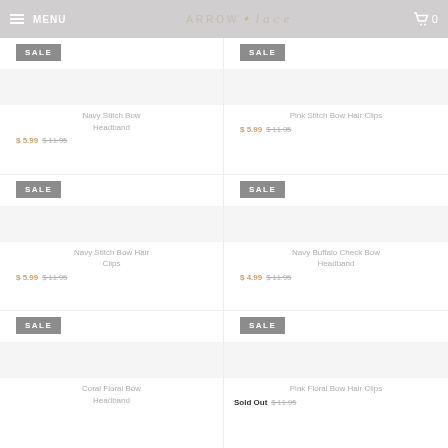MENU | ARROW a lace | 0
SALE
Navy Stitch Bow Headband
$ 5.99  $ 11.95
SALE
Pink Stitch Bow Hair Clips
$ 5.99  $ 11.95
SALE
Navy Stitch Bow Hair Clips
$ 5.99  $ 11.95
SALE
Navy Buffalo Check Bow Headband
$ 4.99  $ 11.95
SALE
Coral Floral Bow Headband
SALE
Pink Floral Bow Hair Clips
Sold Out  $ 11.95